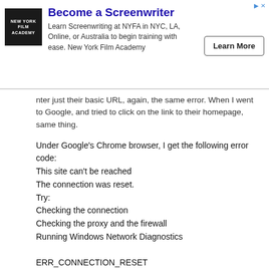[Figure (other): Advertisement banner for New York Film Academy. Logo on left (black square with white text NEW YORK FILM ACADEMY). Headline: Become a Screenwriter. Body: Learn Screenwriting at NYFA in NYC, LA, Online, or Australia to begin training with ease. New York Film Academy. Button: Learn More.]
...Yet that the connection cannot go through. When I tried enter just their basic URL, again, the same error. When I went to Google, and tried to click on the link to their homepage, same thing.
Under Google’s Chrome browser, I get the following error code:
This site can’t be reached
The connection was reset.
Try:
Checking the connection
Checking the proxy and the firewall
Running Windows Network Diagnostics

ERR_CONNECTION_RESET

Under Firefox, I received:
Secure Connection Failed

The connection to the server was reset while the page was loading.